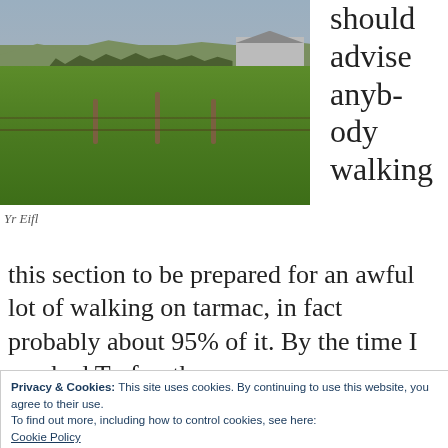[Figure (photo): Landscape photo showing green fields with wooden fence posts in the foreground, trees and hills (Yr Eifl) in the background under a grey sky, with a farm building visible to the right.]
Yr Eifl
should advise anybody walking this section to be prepared for an awful lot of walking on tarmac, in fact probably about 95% of it. By the time I reached Trefor, the sun was
Privacy & Cookies: This site uses cookies. By continuing to use this website, you agree to their use.
To find out more, including how to control cookies, see here:
Cookie Policy
a super wide footpath. However, the main road